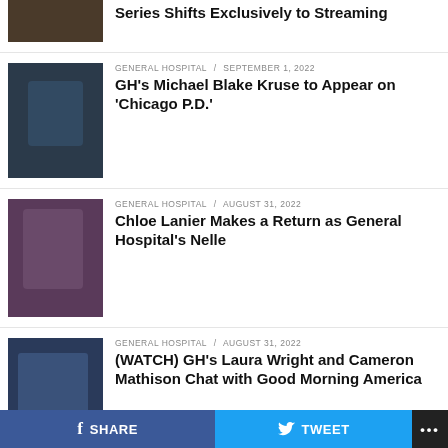Series Shifts Exclusively to Streaming
GENERAL HOSPITAL / September 1, 2022
GH's Michael Blake Kruse to Appear on 'Chicago P.D.'
GENERAL HOSPITAL / August 31, 2022
Chloe Lanier Makes a Return as General Hospital's Nelle
GENERAL HOSPITAL / August 31, 2022
(WATCH) GH's Laura Wright and Cameron Mathison Chat with Good Morning America
AS THE WORLD TURNS / August 31, 2022
ATWT Alum & Oscar Winner Julianne Moore Shares: "The First Time I was in Venice, I was an Actress on an American Soap Opera … If I Had Known Then I Would be Here as the President of
SHARE   TWEET   ...